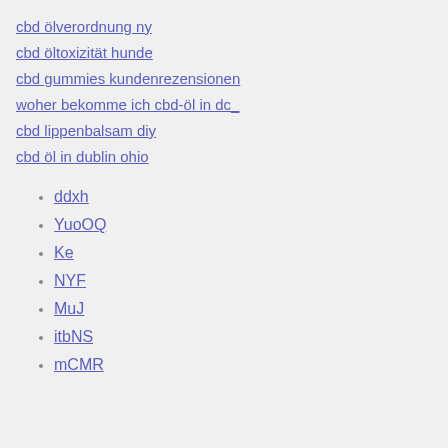cbd ölverordnung ny
cbd öltoxizität hunde
cbd gummies kundenrezensionen
woher bekomme ich cbd-öl in dc_
cbd lippenbalsam diy
cbd öl in dublin ohio
ddxh
YuoOQ
Ke
NYF
MuJ
itbNS
mCMR